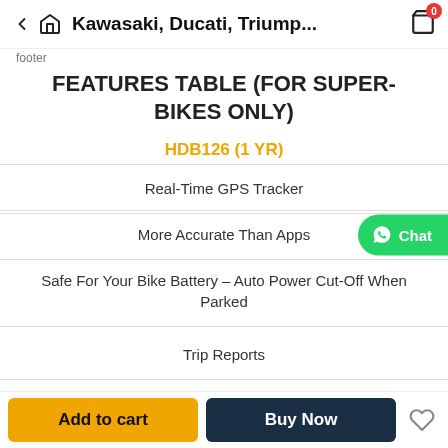Kawasaki, Ducati, Triump...
footer
FEATURES TABLE (FOR SUPER-BIKES ONLY)
HDB126 (1 YR)
Real-Time GPS Tracker
More Accurate Than Apps
Safe For Your Bike Battery – Auto Power Cut-Off When Parked
Trip Reports
Geo Fence Alerts
Add to cart | Buy Now